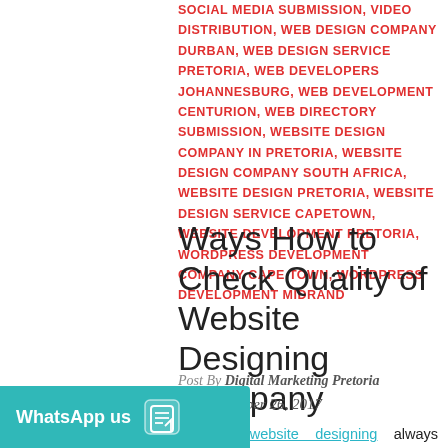SOCIAL MEDIA SUBMISSION, VIDEO DISTRIBUTION, WEB DESIGN COMPANY DURBAN, WEB DESIGN SERVICE PRETORIA, WEB DEVELOPERS JOHANNESBURG, WEB DEVELOPMENT CENTURION, WEB DIRECTORY SUBMISSION, WEBSITE DESIGN COMPANY IN PRETORIA, WEBSITE DESIGN COMPANY SOUTH AFRICA, WEBSITE DESIGN PRETORIA, WEBSITE DESIGN SERVICE CAPETOWN, WEBSITE DEVELOPMENT PRETORIA, WORDPRESS DEVELOPMENT COMPANY CAPE TOWN, WORDPRESS DEVELOPMENT MIDRAND
Ways How to Check Quality of Website Designing Company
Post By Digital Marketing Pretoria
December 26, 2017
Effective website designing always increase business website, generates leads and increase income – multiplying your